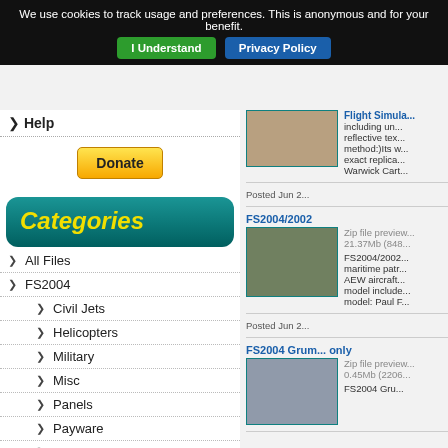We use cookies to track usage and preferences. This is anonymous and for your benefit.
I Understand
Privacy Policy
Help
[Figure (other): PayPal Donate button]
Categories
All Files
FS2004
Civil Jets
Helicopters
Military
Misc
Panels
Payware
Props
Scenery
[Figure (photo): Thumbnail image of aircraft model (top, partially visible)]
Flight Simula... including un... reflective tex... method:)Its w... exact replica... Warwick Cart...
Posted Jun 2...
FS2004/2002
[Figure (photo): Military bomber aircraft, twin-engine, low over snow/water]
Zip file preview... 21.37Mb (848...
FS2004/2002... maritime patr... AEW aircraft... model include... model: Paul F...
Posted Jun 2...
FS2004 Grum... only
[Figure (photo): Military aircraft, smaller, flying over water]
Zip file preview... 0.45Mb (2206...
FS2004 Gru...